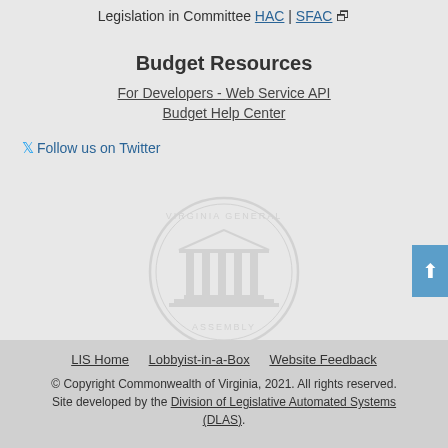Legislation in Committee HAC | SFAC
Budget Resources
For Developers - Web Service API
Budget Help Center
Follow us on Twitter
[Figure (logo): Virginia General Assembly circular seal/watermark with columns building]
LIS Home   Lobbyist-in-a-Box   Website Feedback
© Copyright Commonwealth of Virginia, 2021. All rights reserved. Site developed by the Division of Legislative Automated Systems (DLAS).